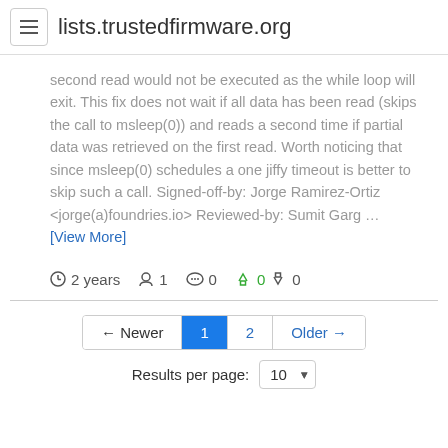lists.trustedfirmware.org
second read would not be executed as the while loop will exit. This fix does not wait if all data has been read (skips the call to msleep(0)) and reads a second time if partial data was retrieved on the first read. Worth noticing that since msleep(0) schedules a one jiffy timeout is better to skip such a call. Signed-off-by: Jorge Ramirez-Ortiz <jorge(a)foundries.io> Reviewed-by: Sumit Garg … [View More]
2 years  1  0  0  0
← Newer  1  2  Older →
Results per page: 10